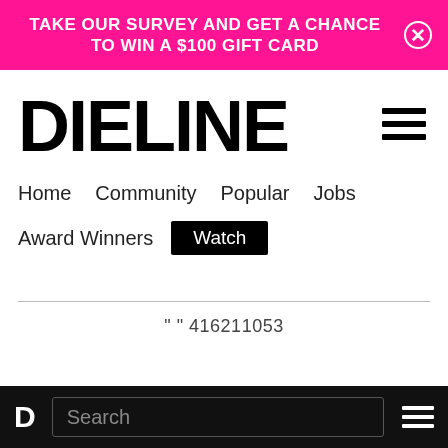TAKE OUR SURVEY AND GET A CHANCE TO WIN A $100 GIFT CARD
DIELINE
Home   Community   Popular   Jobs
Award Winners   Watch
" " 416211053
D   Search   ☰